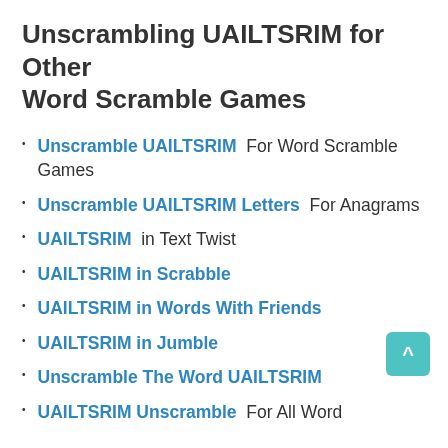Unscrambling UAILTSRIM for Other Word Scramble Games
Unscramble UAILTSRIM  For Word Scramble Games
Unscramble UAILTSRIM Letters  For Anagrams
UAILTSRIM  in Text Twist
UAILTSRIM in Scrabble
UAILTSRIM in Words With Friends
UAILTSRIM in Jumble
Unscramble The Word UAILTSRIM
UAILTSRIM Unscramble  For All Word Games